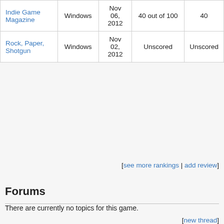| Publication | Platform | Date | Score | Score |
| --- | --- | --- | --- | --- |
| Indie Game Magazine | Windows | Nov 06, 2012 | 40 out of 100 | 40 |
| Rock, Paper, Shotgun | Windows | Nov 02, 2012 | Unscored | Unscored |
[see more rankings | add review]
Forums
There are currently no topics for this game.
[new thread]
Trivia
Cemetery Halloween Edition DLC
Players who pre-ordered the game or ordered it during the October 2012 Halloween Sale on the Steam digital distribution platform received the Cemetery Halloween Edition DLC. It is an update where the first level is